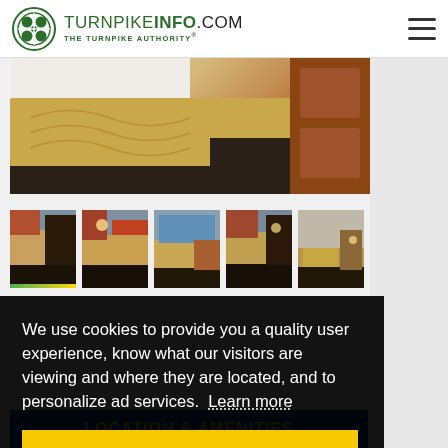TURNPIKEINFO.COM THE TURNPIKE AUTHORITY®
[Figure (photo): Hotel room photo showing bed with golden/tan bedspread and dark patterned carpet, orange wood door visible]
[Figure (photo): Row of 5 hotel room thumbnail photos showing various room configurations with beds]
We use cookies to provide you a quality user experience, know what our visitors are viewing and where they are located, and to personalize ad services. Learn more
LOCATION & AMENITIES